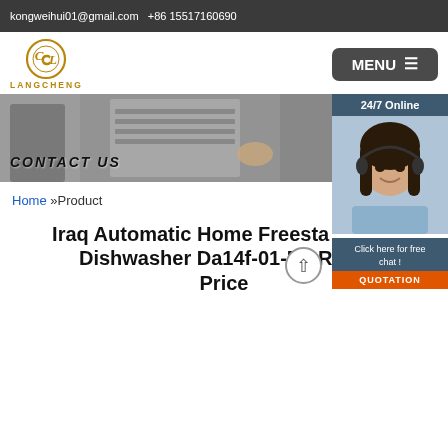kongweihui01@gmail.com  +86 15517160690
[Figure (logo): Langcheng logo: circular emblem with CL monogram in gold/brown, text LANGCHENG below]
[Figure (screenshot): Menu button (MENU with hamburger icon) in dark gray rounded rectangle]
[Figure (photo): Banner image showing person loading dishwasher, with CONTACT US text overlay]
[Figure (photo): 24/7 Online sidebar panel with female customer service agent photo, Click here for free chat text, and QUOTATION orange button]
Home »Product
Iraq Automatic Home Freestanding Dishwasher Da14f-01-Eu Right Price
Just fill in the form below, click submit, you will get the price list, and we will contact you within one working day. Please also feel free to contact us via email or phone. (* is required).